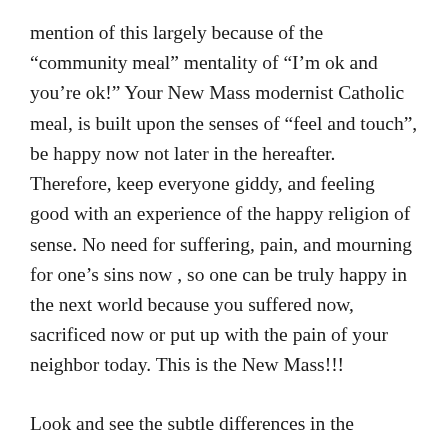mention of this largely because of the “community meal” mentality of “I’m ok and you’re ok!” Your New Mass modernist Catholic meal, is built upon the senses of “feel and touch”, be happy now not later in the hereafter. Therefore, keep everyone giddy, and feeling good with an experience of the happy religion of sense. No need for suffering, pain, and mourning for one’s sins now , so one can be truly happy in the next world because you suffered now, sacrificed now or put up with the pain of your neighbor today. This is the New Mass!!!
Look and see the subtle differences in the